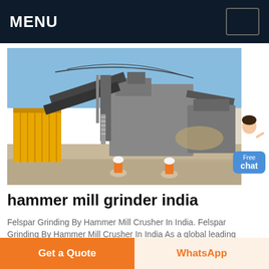MENU
[Figure (photo): Mining/quarry site with heavy industrial crushing and conveying machinery, including a large yellow shipping container on the left, conveyor belts, a large crusher/screener machine, and two workers in orange hi-vis vests and hard hats crouching in the foreground on a gravel surface.]
hammer mill grinder india
Felspar Grinding By Hammer Mill Crusher In India. Felspar Grinding By Hammer Mill Crusher In India As a global leading manufacturer of products and services for the mining industry, our company can provide you with. Read More. Grinding Machine. Grindin
Get a Quote
WhatsApp